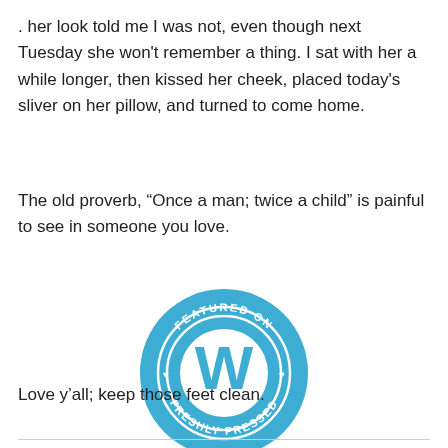. her look told me I was not, even though next Tuesday she won't remember a thing. I sat with her a while longer, then kissed her cheek, placed today's sliver on her pillow, and turned to come home.
The old proverb, “Once a man; twice a child” is painful to see in someone you love.
[Figure (logo): WordPress 'Featured on Freshly Pressed' circular badge in blue with white WordPress 'W' logo and text reading 'FEATURED ON' at top and 'FRESHLY PRESSED' at bottom]
Love y’all; keep those feet clean.